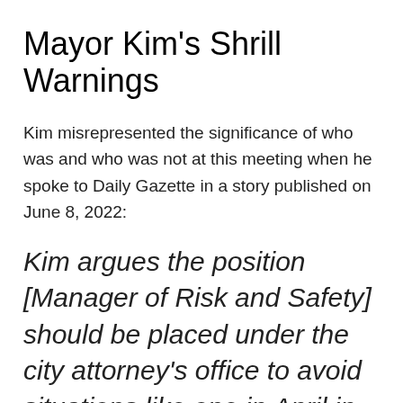Mayor Kim's Shrill Warnings
Kim misrepresented the significance of who was and who was not at this meeting when he spoke to Daily Gazette in a story published on June 8, 2022:
Kim argues the position [Manager of Risk and Safety] should be placed under the city attorney's office to avoid situations like one in April in which the city attorney was not at a settlement meeting